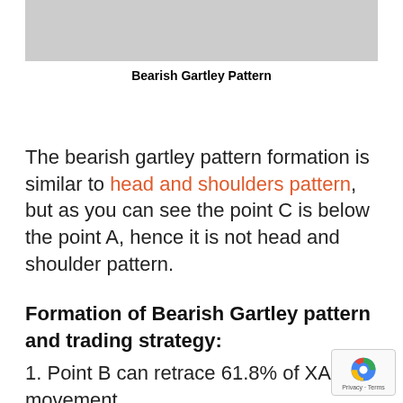[Figure (other): Bearish Gartley pattern chart image (cropped, partially visible at top)]
Bearish Gartley Pattern
The bearish gartley pattern formation is similar to head and shoulders pattern, but as you can see the point C is below the point A, hence it is not head and shoulder pattern.
Formation of Bearish Gartley pattern and trading strategy:
1. Point B can retrace 61.8% of XA movement.